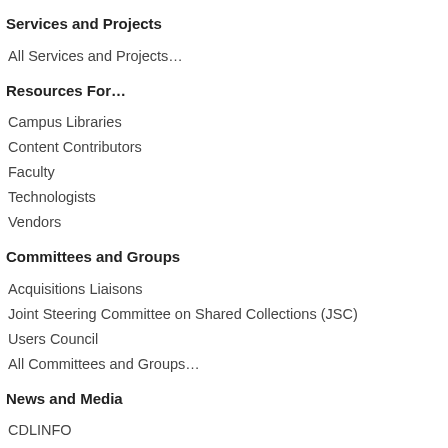Services and Projects
All Services and Projects…
Resources For…
Campus Libraries
Content Contributors
Faculty
Technologists
Vendors
Committees and Groups
Acquisitions Liaisons
Joint Steering Committee on Shared Collections (JSC)
Users Council
All Committees and Groups…
News and Media
CDLINFO
Press Kit